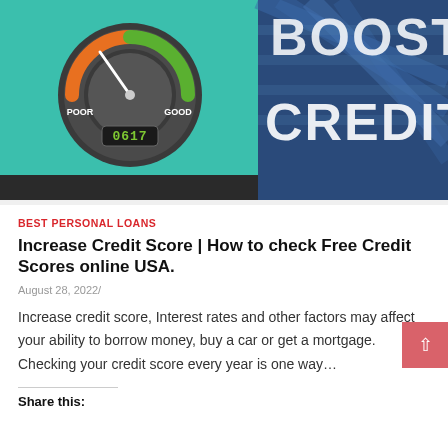[Figure (photo): Split image: left side shows a credit score gauge on teal background with needle pointing between POOR and GOOD, displaying score 0617; right side shows blurred blue background with large white text reading BOOST CREDIT]
BEST PERSONAL LOANS
Increase Credit Score | How to check Free Credit Scores online USA.
August 28, 2022/
Increase credit score, Interest rates and other factors may affect your ability to borrow money, buy a car or get a mortgage. Checking your credit score every year is one way…
Share this: